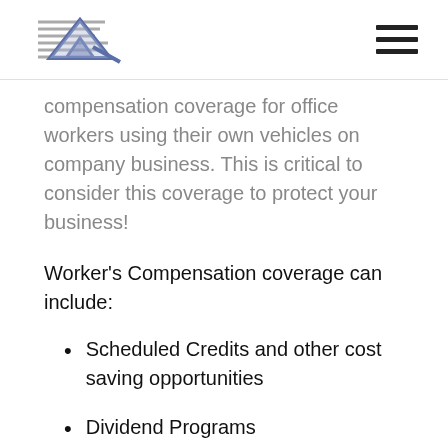[Logo] [Hamburger menu]
compensation coverage for office workers using their own vehicles on company business. This is critical to consider this coverage to protect your business!
Worker's Compensation coverage can include:
Scheduled Credits and other cost saving opportunities
Dividend Programs